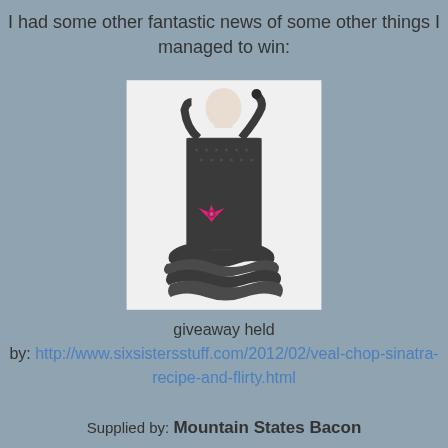I had some other fantastic news of some other things I managed to win:
[Figure (photo): A decorative black polka-dot ruffled apron with a pink bow, displayed on a dress form mannequin against a white background.]
giveaway held by: http://www.sixsistersstuff.com/2012/02/veal-chop-sinatra-recipe-and-flirty.html
Supplied by: Mountain States Bacon